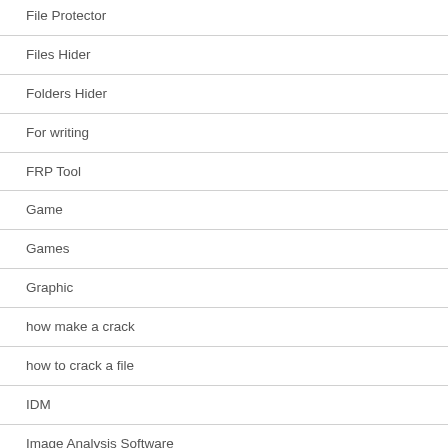File Protector
Files Hider
Folders Hider
For writing
FRP Tool
Game
Games
Graphic
how make a crack
how to crack a file
IDM
Image Analysis Software
Image Editor
Internet Developing Tool